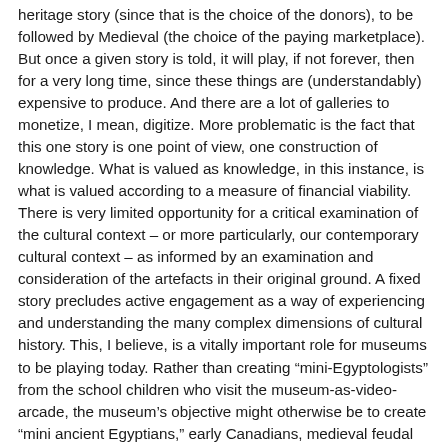heritage story (since that is the choice of the donors), to be followed by Medieval (the choice of the paying marketplace). But once a given story is told, it will play, if not forever, then for a very long time, since these things are (understandably) expensive to produce. And there are a lot of galleries to monetize, I mean, digitize. More problematic is the fact that this one story is one point of view, one construction of knowledge. What is valued as knowledge, in this instance, is what is valued according to a measure of financial viability. There is very limited opportunity for a critical examination of the cultural context – or more particularly, our contemporary cultural context – as informed by an examination and consideration of the artefacts in their original ground. A fixed story precludes active engagement as a way of experiencing and understanding the many complex dimensions of cultural history. This, I believe, is a vitally important role for museums to be playing today. Rather than creating “mini-Egyptologists” from the school children who visit the museum-as-video-arcade, the museum’s objective might otherwise be to create “mini ancient Egyptians,” early Canadians, medieval feudal lords or serfs, and other actors in a total participatory environment.